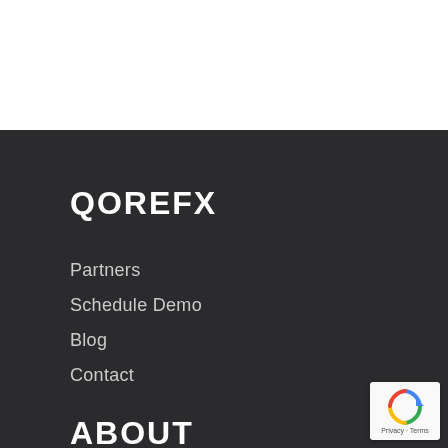QOREFX
Partners
Schedule Demo
Blog
Contact
ABOUT
[Figure (logo): Google reCAPTCHA badge with spinning arrow icon and 'Privacy - Terms' text]